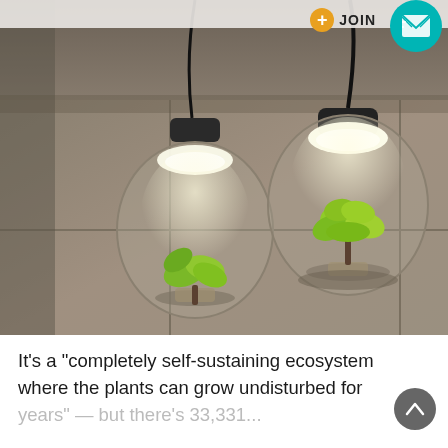[Figure (photo): Two glass pendant lamp terrariums with small green plants inside, hanging from black cords against a concrete wall background. Each lamp has a dark top cap and glass globe enclosure with a plant growing inside illuminated by an integrated light.]
It's a "completely self-sustaining ecosystem where the plants can grow undisturbed for years" — but there's 33,331...